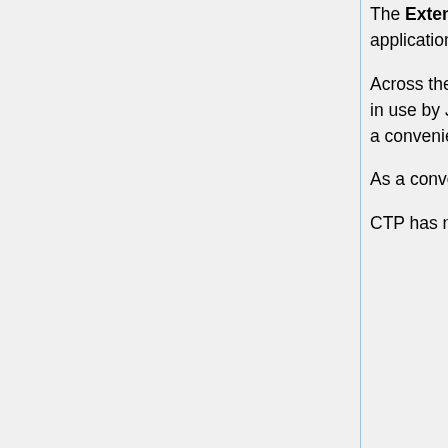The Extensions directory parameter is intended for special applications in which third-party software is added into the system. One such application is the NCI's National Biomedical Image Archive (NBIA). Normal teaching file systems do not require this parameter.
Across the top of the dialog are several tabs providing access to information about the versions of the components, the system parameters in use by Java as the program runs, and any messages output by the program either directly or through its log file. These are only present as a convenience; they are not typically used in normal operation.
As a convenience, the CTP Home Page button launches the user's browser and goes directly to the main MIRC page.
CTP has no user interface. When the